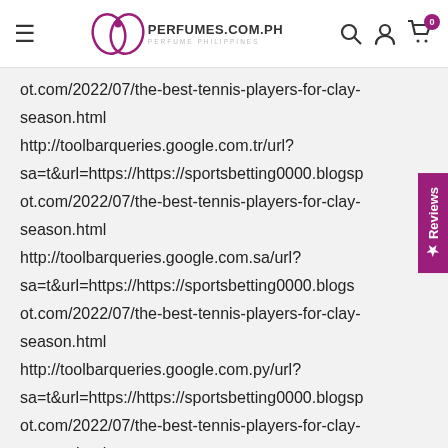PERFUMES.COM.PH
ot.com/2022/07/the-best-tennis-players-for-clay-season.html http://toolbarqueries.google.com.tr/url?sa=t&url=https://https://sportsbetting0000.blogspot.com/2022/07/the-best-tennis-players-for-clay-season.html http://toolbarqueries.google.com.sa/url?sa=t&url=https://https://sportsbetting0000.blogspot.com/2022/07/the-best-tennis-players-for-clay-season.html http://toolbarqueries.google.com.py/url?sa=t&url=https://https://sportsbetting0000.blogspot.com/2022/07/the-best-tennis-players-for-clay-season.html